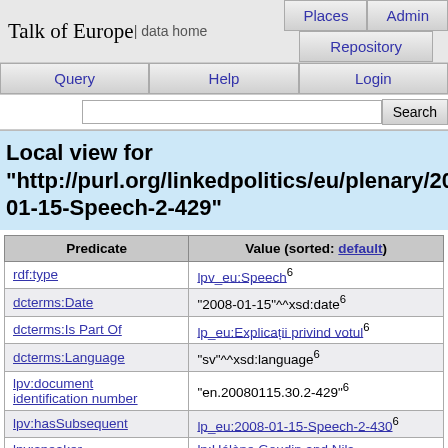Talk of Europe | data home | Places | Admin | Repository | Query | Help | Login | Search
Local view for "http://purl.org/linkedpolitics/eu/plenary/2008-01-15-Speech-2-429"
| Predicate | Value (sorted: default) |
| --- | --- |
| rdf:type | lpv_eu:Speech^6 |
| dcterms:Date | "2008-01-15"^^xsd:date^6 |
| dcterms:Is Part Of | lp_eu:Explicații privind votul^6 |
| dcterms:Language | "sv"^^xsd:language^6 |
| lpv:document identification number | "en.20080115.30.2-429"^6 |
| lpv:hasSubsequent | lp_eu:2008-01-15-Speech-2-430^6 |
| lpv:speaker | lp:Hélène Goudin and Nils Lundgren (IND/DEM )^6 |
|  | "Den inre marknaden är EU:s |